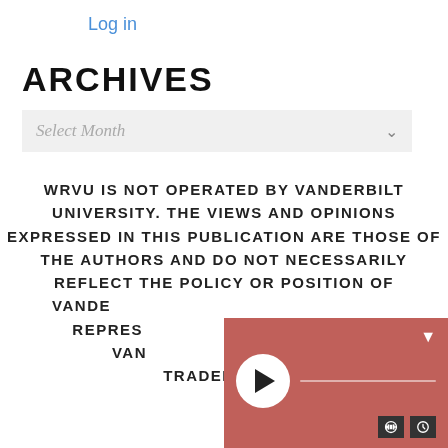Log in
ARCHIVES
Select Month
WRVU IS NOT OPERATED BY VANDERBILT UNIVERSITY. THE VIEWS AND OPINIONS EXPRESSED IN THIS PUBLICATION ARE THOSE OF THE AUTHORS AND DO NOT NECESSARILY REFLECT THE POLICY OR POSITION OF VANDE... REPRES... VAN... TRADEMA...
[Figure (other): Audio player widget with play button, progress bar, volume and history icons on a terracotta/red background]